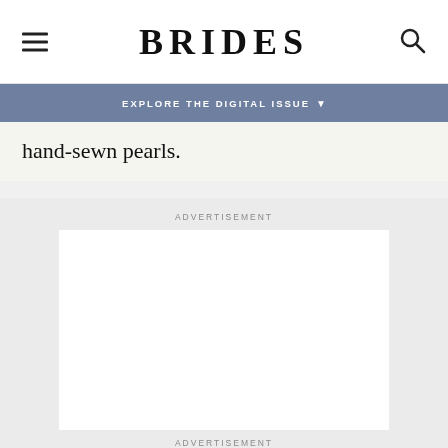BRIDES
EXPLORE THE DIGITAL ISSUE
hand-sewn pearls.
ADVERTISEMENT
[Figure (other): Advertisement placeholder white box]
ADVERTISEMENT